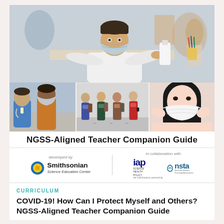[Figure (photo): Collage of COVID-19 pandemic school photos: top large photo shows a masked boy at a school desk reaching forward; bottom row left shows a nurse or healthcare worker with a masked teen; bottom row center shows people socially distancing in a line; bottom row right shows a young Asian girl adjusting a white face mask.]
NGSS-Aligned Teacher Companion Guide
[Figure (logo): Developed by Smithsonian Science Education Center logo (sun emblem); in collaboration with IAP Science Health Policy and NSTA (National Science Teaching Association) logos.]
CURRICULUM
COVID-19! How Can I Protect Myself and Others? NGSS-Aligned Teacher Companion Guide